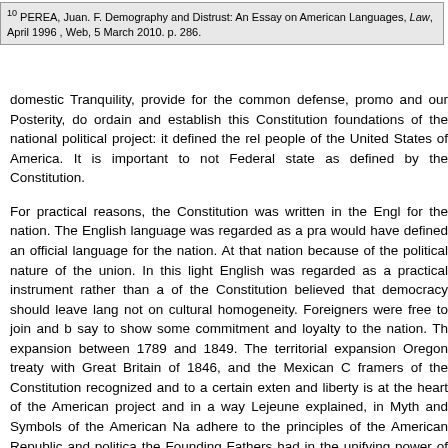10 PEREA, Juan. F. Demography and Distrust: An Essay on American Languages, Law, April 1996 , Web, 5 March 2010. p. 286.
domestic Tranquility, provide for the common defense, promo and our Posterity, do ordain and establish this Constitution foundations of the national political project: it defined the rel people of the United States of America. It is important to not Federal state as defined by the Constitution.
For practical reasons, the Constitution was written in the Engl for the nation. The English language was regarded as a pra would have defined an official language for the nation. At that nation because of the political nature of the union. In this light English was regarded as a practical instrument rather than a of the Constitution believed that democracy should leave lang not on cultural homogeneity. Foreigners were free to join and b say to show some commitment and loyalty to the nation. Th expansion between 1789 and 1849. The territorial expansion Oregon treaty with Great Britain of 1846, and the Mexican C framers of the Constitution recognized and to a certain exten and liberty is at the heart of the American project and in a way Lejeune explained, in Myth and Symbols of the American Na adhere to the principles of the American Republic and politica the Founding Fathers had in the unifying power of the pri